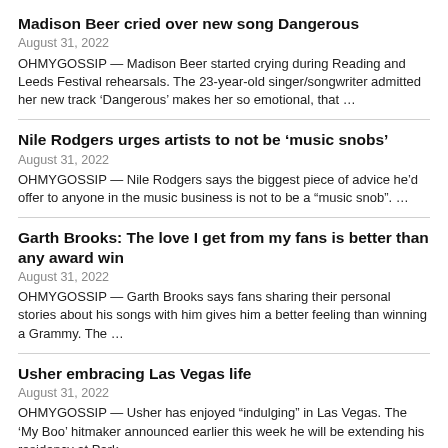Madison Beer cried over new song Dangerous
August 31, 2022
OHMYGOSSIP — Madison Beer started crying during Reading and Leeds Festival rehearsals. The 23-year-old singer/songwriter admitted her new track ‘Dangerous’ makes her so emotional, that …
Nile Rodgers urges artists to not be ‘music snobs’
August 31, 2022
OHMYGOSSIP — Nile Rodgers says the biggest piece of advice he’d offer to anyone in the music business is not to be a “music snob”. …
Garth Brooks: The love I get from my fans is better than any award win
August 31, 2022
OHMYGOSSIP — Garth Brooks says fans sharing their personal stories about his songs with him gives him a better feeling than winning a Grammy. The …
Usher embracing Las Vegas life
August 31, 2022
OHMYGOSSIP — Usher has enjoyed “indulging” in Las Vegas. The ‘My Boo’ hitmaker announced earlier this week he will be extending his residency at Park …
King Crimson’s Robert Fripp reveals romantic reason why